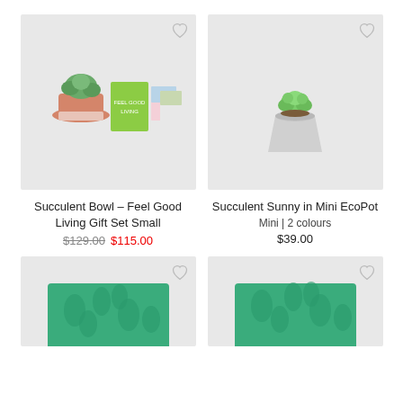[Figure (photo): Succulent bowl gift set with terracotta pot, green book, and patterned cards on light grey background]
Succulent Bowl – Feel Good Living Gift Set Small
$129.00  $115.00
[Figure (photo): Single succulent plant in small grey/white mini eco pot on light grey background]
Succulent Sunny in Mini EcoPot
Mini | 2 colours
$39.00
[Figure (photo): Partially visible green patterned product at bottom left, cut off]
[Figure (photo): Partially visible green patterned product at bottom right, cut off]